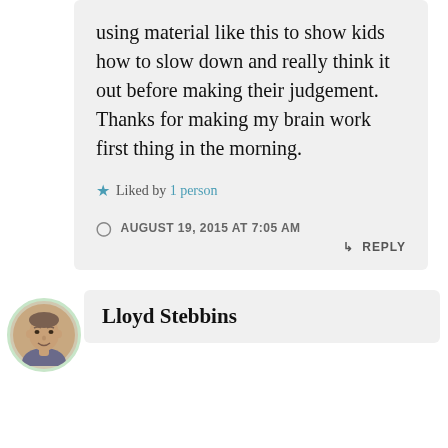using material like this to show kids how to slow down and really think it out before making their judgement. Thanks for making my brain work first thing in the morning.
★ Liked by 1 person
AUGUST 19, 2015 AT 7:05 AM
↳ REPLY
[Figure (photo): Circular avatar photo of Lloyd Stebbins, a man, with a light green circular border]
Lloyd Stebbins